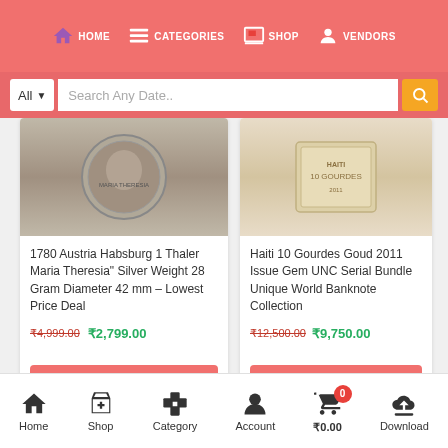HOME  CATEGORIES  SHOP  VENDORS
All  Search Any Date..
[Figure (photo): Top portion of a silver coin (Austria Habsburg Thaler)]
1780 Austria Habsburg 1 Thaler Maria Theresia" Silver Weight 28 Gram Diameter 42 mm – Lowest Price Deal
₹4,999.00  ₹2,799.00
ADD TO CART
[Figure (photo): Haiti banknote product image]
Haiti 10 Gourdes Goud 2011 Issue Gem UNC Serial Bundle Unique World Banknote Collection
₹12,500.00  ₹9,750.00
ADD TO CART
[Figure (photo): Reserve Bank of India Five Rupees banknote, -40% discount badge]
[Figure (photo): Old coin with coat of arms, -25% discount badge]
Home  Shop  Category  Account  ₹0.00  Download